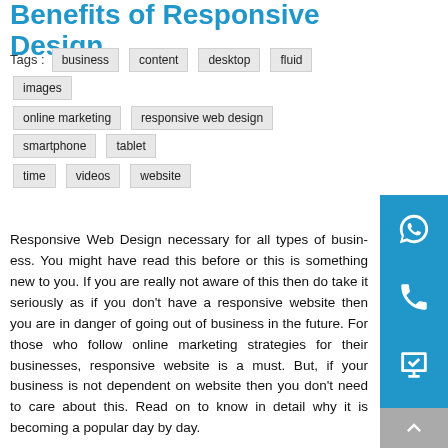Benefits of Responsive Design
Tags :  business  content  desktop  fluid  images  online marketing  responsive web design  smartphone  tablet  time  videos  website
Responsive Web Design necessary for all types of business. You might have read this before or this is something new to you. If you are really not aware of this then do take it seriously as if you don't have a responsive website then you are in danger of going out of business in the future. For those who follow online marketing strategies for their businesses, responsive website is a must. But, if your business is not dependent on website then you don't need to care about this. Read on to know in detail why it is becoming a popular day by day.